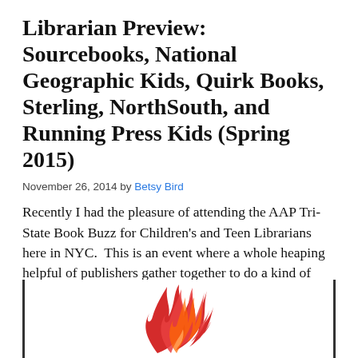Librarian Preview: Sourcebooks, National Geographic Kids, Quirk Books, Sterling, NorthSouth, and Running Press Kids (Spring 2015)
November 26, 2014 by Betsy Bird
Recently I had the pleasure of attending the AAP Tri-State Book Buzz for Children's and Teen Librarians here in NYC.  This is an event where a whole heaping helpful of publishers gather together to do a kind of massive librarian preview for folks like myself.  It's a mix of big folks (Macmillan, Random House, etc.) […]
[Figure (illustration): A flame/fire illustration in red and orange colors, shown inside a bordered box with left and right vertical lines.]